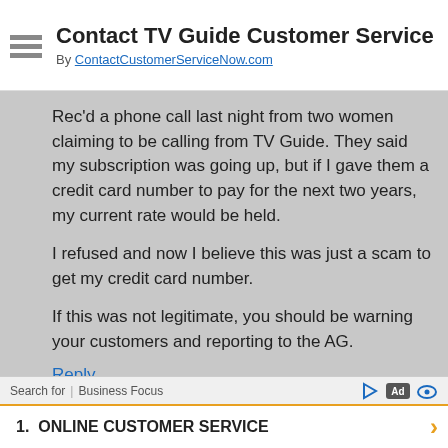Contact TV Guide Customer Service
By ContactCustomerServiceNow.com
Rec'd a phone call last night from two women claiming to be calling from TV Guide. They said my subscription was going up, but if I gave them a credit card number to pay for the next two years, my current rate would be held.

I refused and now I believe this was just a scam to get my credit card number.

If this was not legitimate, you should be warning your customers and reporting to the AG.
Reply
115. Daylin Knabb says:
October 18, 2015 at 12:44 pm
My account is up to date but did not receive a tv guide last week. My daughter was also suppose to receive a gift subscription. She did not receive hers either with the previous month. I'm to get a bill...
Search for | Business Focus  1. ONLINE CUSTOMER SERVICE